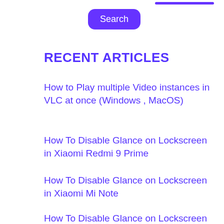[Figure (screenshot): Search button (purple rounded rectangle with white text 'Search') and a purple bar above it]
RECENT ARTICLES
How to Play multiple Video instances in VLC at once (Windows , MacOS)
How To Disable Glance on Lockscreen in Xiaomi Redmi 9 Prime
How To Disable Glance on Lockscreen in Xiaomi Mi Note
How To Disable Glance on Lockscreen in